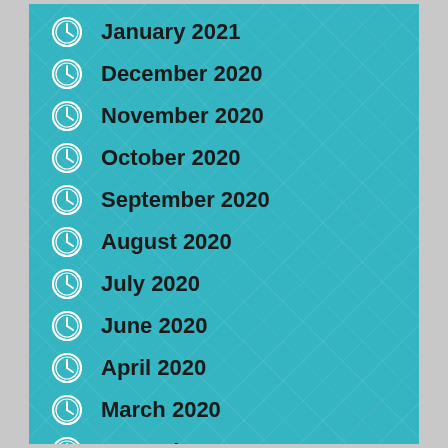January 2021
December 2020
November 2020
October 2020
September 2020
August 2020
July 2020
June 2020
April 2020
March 2020
December 2019
September 2019